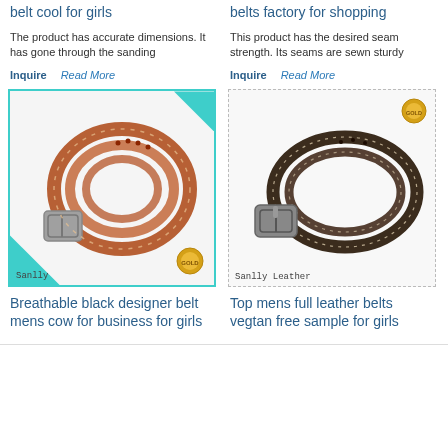belt cool for girls
belts factory for shopping
The product has accurate dimensions. It has gone through the sanding
This product has the desired seam strength. Its seams are sewn sturdy
Inquire   Read More
Inquire   Read More
[Figure (photo): Brown leather belt coiled, with metal buckle, on white background. Sanlly logo at bottom left, gold badge bottom right.]
[Figure (photo): Dark brown thin leather belt coiled, with metal buckle, white stitching. Sanlly Leather label. Gold badge top right.]
Breathable black designer belt mens cow for business for girls
Top mens full leather belts vegtan free sample for girls